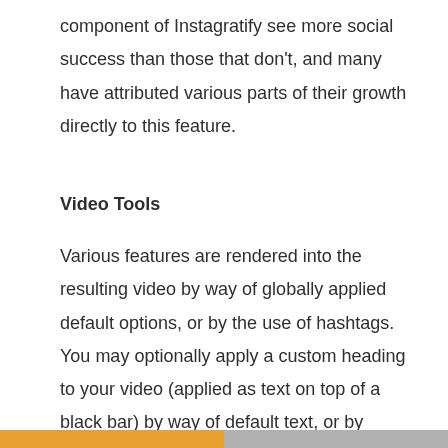component of Instagratify see more social success than those that don't, and many have attributed various parts of their growth directly to this feature.
Video Tools
Various features are rendered into the resulting video by way of globally applied default options, or by the use of hashtags. You may optionally apply a custom heading to your video (applied as text on top of a black bar) by way of default text, or by using the shortcode of [heading: This is a Video Title]. A watermark, once again